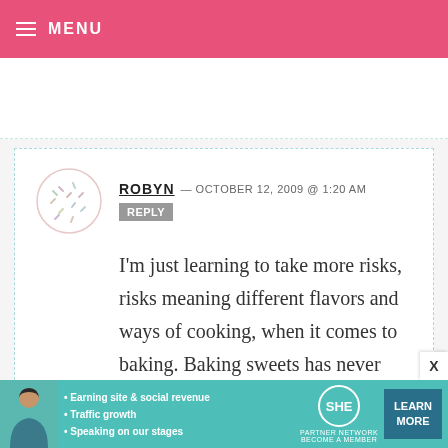MENU
[Figure (illustration): SHE Partner Network advertisement banner with photo of woman, bullet points about earning site & social revenue, traffic growth, speaking on our stages, SHE logo, and LEARN MORE button]
ROBYN — OCTOBER 12, 2009 @ 1:20 AM   REPLY
I'm just learning to take more risks, risks meaning different flavors and ways of cooking, when it comes to baking. Baking sweets has never been kind to me, so I'm learning as I go. Having that Martha Stewart Cookie book may just help ease that road for me! Those cupcakes you've made look